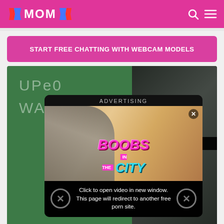XMOMX
START FREE CHATTING WITH WEBCAM MODELS
[Figure (screenshot): Webpage screenshot showing a video thumbnail of a classroom scene with a chalkboard, overlaid by an advertising popup for 'Boobs in the City' game, and a redirect warning bar at the bottom reading 'Click to open video in new window. This page will redirect to another free porn site.']